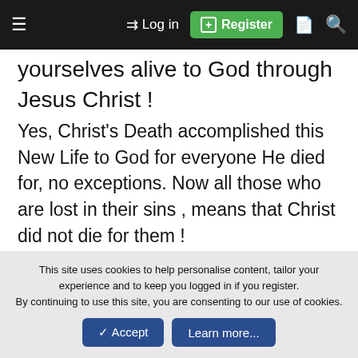Log in | Register
yourselves alive to God through Jesus Christ !
Yes, Christ's Death accomplished this New Life to God for everyone He died for, no exceptions. Now all those who are lost in their sins , means that Christ did not die for them !
brightfame52 — Calvinism Overseer | Calvinism Overseer
This site uses cookies to help personalise content, tailor your experience and to keep you logged in if you register. By continuing to use this site, you are consenting to our use of cookies.